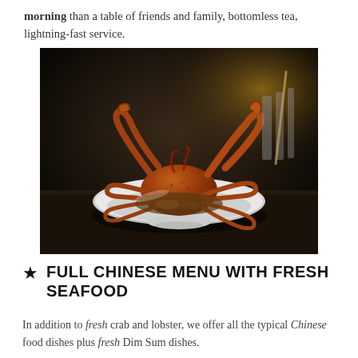morning than a table of friends and family, bottomless tea, lightning-fast service.
[Figure (photo): A cooked crab dish served in a white bowl on a dark surface, in a restaurant setting with dark background.]
★ FULL CHINESE MENU WITH FRESH SEAFOOD
In addition to fresh crab and lobster, we offer all the typical Chinese food dishes plus fresh Dim Sum dishes.